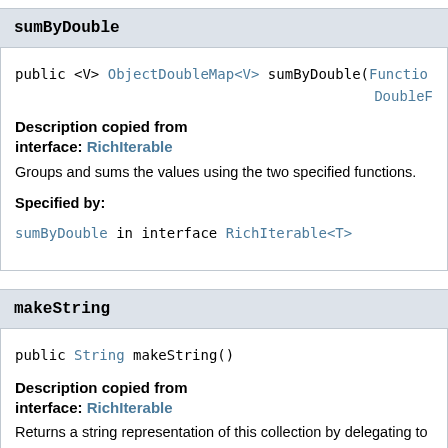sumByDouble
public <V> ObjectDoubleMap<V> sumByDouble(Functio... DoubleF...
Description copied from interface: RichIterable
Groups and sums the values using the two specified functions.
Specified by:
sumByDouble in interface RichIterable<T>
makeString
public String makeString()
Description copied from interface: RichIterable
Returns a string representation of this collection by delegating to